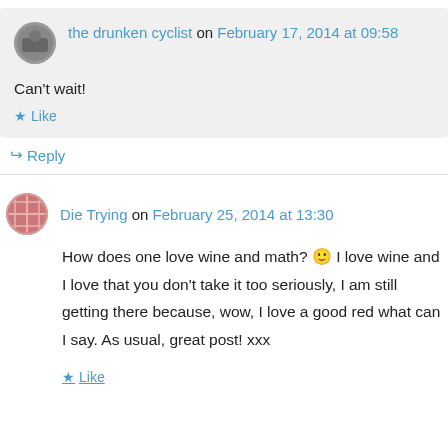the drunken cyclist on February 17, 2014 at 09:58
Can't wait!
Like
Reply
Die Trying on February 25, 2014 at 13:30
How does one love wine and math? 🙂 I love wine and I love that you don't take it too seriously, I am still getting there because, wow, I love a good red what can I say. As usual, great post! xxx
Like